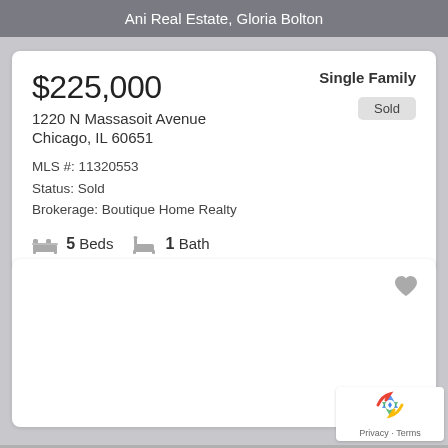Ani Real Estate, Gloria Bolton
$225,000
Single Family
Sold
1220 N Massasoit Avenue
Chicago, IL 60651
MLS #: 11320553
Status: Sold
Brokerage: Boutique Home Realty
5 Beds  1 Bath
[Figure (other): Empty white listing card with a heart/favorite icon in the top right corner]
[Figure (logo): Google reCAPTCHA widget with Privacy and Terms links]